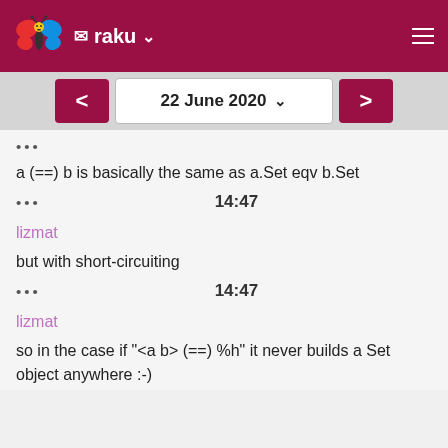raku
22 June 2020
a (==) b is basically the same as a.Set eqv b.Set
14:47
lizmat
but with short-circuiting
14:47
lizmat
so in the case if "<a b> (==) %h" it never builds a Set object anywhere :-)